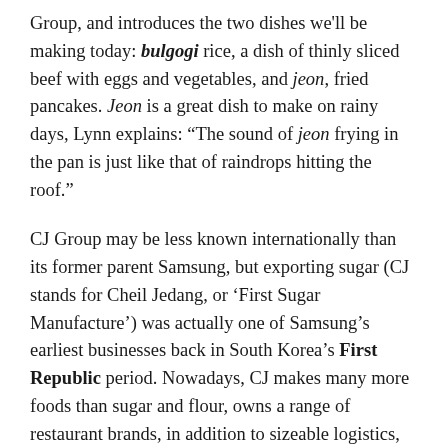Group, and introduces the two dishes we'll be making today: bulgogi rice, a dish of thinly sliced beef with eggs and vegetables, and jeon, fried pancakes. Jeon is a great dish to make on rainy days, Lynn explains: “The sound of jeon frying in the pan is just like that of raindrops hitting the roof.”
CJ Group may be less known internationally than its former parent Samsung, but exporting sugar (CJ stands for Cheil Jedang, or ‘First Sugar Manufacture’) was actually one of Samsung’s earliest businesses back in South Korea’s First Republic period. Nowadays, CJ makes many more foods than sugar and flour, owns a range of restaurant brands, in addition to sizeable logistics, retail, pharmaceutical and entertainment arms. It is an important player on the Korean film production and distribution scene, and its